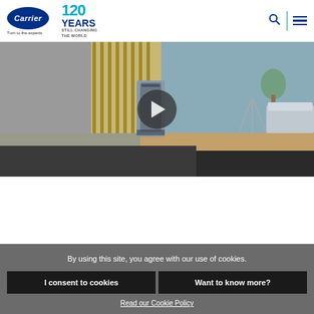[Figure (logo): Carrier logo with oval shape containing 'Carrier' text and tagline 'Turn to the experts']
[Figure (logo): 120 Years Still Changing The World anniversary logo in blue and teal]
[Figure (screenshot): Video thumbnail showing a 3D rendering of an HVAC unit in a room cross-section with play button overlay]
By using this site, you agree with our use of cookies.
I consent to cookies
Want to know more?
Read our Cookie Policy